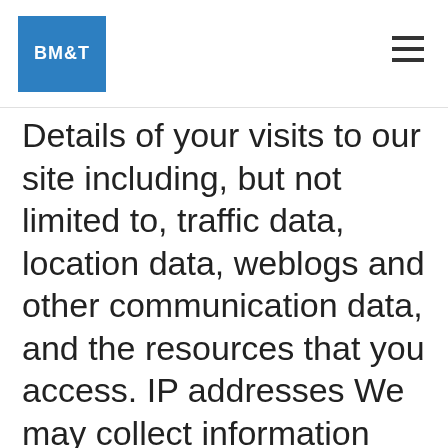BM&T
Details of your visits to our site including, but not limited to, traffic data, location data, weblogs and other communication data, and the resources that you access. IP addresses We may collect information about your computer, including where available your IP address, operating system and browser type, for system administration and to report